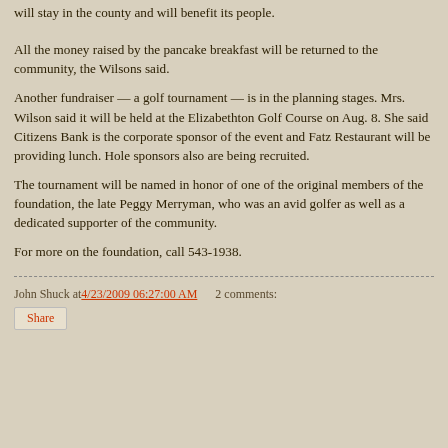will stay in the county and will benefit its people.
All the money raised by the pancake breakfast will be returned to the community, the Wilsons said.
Another fundraiser — a golf tournament — is in the planning stages. Mrs. Wilson said it will be held at the Elizabethton Golf Course on Aug. 8. She said Citizens Bank is the corporate sponsor of the event and Fatz Restaurant will be providing lunch. Hole sponsors also are being recruited.
The tournament will be named in honor of one of the original members of the foundation, the late Peggy Merryman, who was an avid golfer as well as a dedicated supporter of the community.
For more on the foundation, call 543-1938.
John Shuck at 4/23/2009 06:27:00 AM   2 comments:
Share